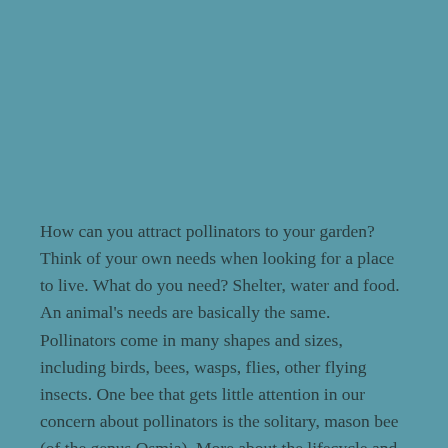How can you attract pollinators to your garden? Think of your own needs when looking for a place to live. What do you need? Shelter, water and food. An animal's needs are basically the same. Pollinators come in many shapes and sizes, including birds, bees, wasps, flies, other flying insects. One bee that gets little attention in our concern about pollinators is the solitary, mason bee (of the genus Osmia). More about the lifecycle and nesting habits of this bee can be found at this cited article, Mason Bee – Wikipedia.